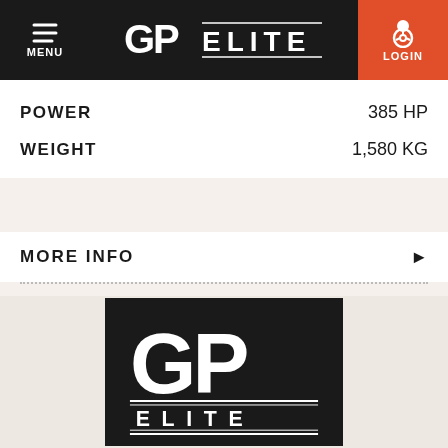GP ELITE — MENU | LOGIN
POWER    385 HP
WEIGHT    1,580 KG
MORE INFO ▶
[Figure (logo): GP Elite logo — large GP monogram letters in white on black square background, with ELITE text below, underlined]